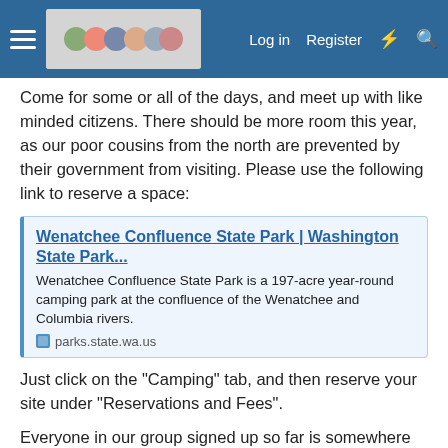Log in  Register
Come for some or all of the days, and meet up with like minded citizens. There should be more room this year, as our poor cousins from the north are prevented by their government from visiting. Please use the following link to reserve a space:
[Figure (screenshot): Link preview card for Wenatchee Confluence State Park Washington State Park website with title, description and parks.state.wa.us URL]
Just click on the "Camping" tab, and then reserve your site under "Reservations and Fees".
Everyone in our group signed up so far is somewhere between space 48 and space 56, so if you can find a spot close, even better!
We look forward to seeing you there!